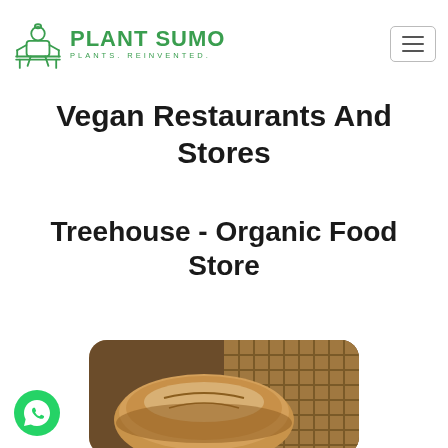[Figure (logo): Plant Sumo logo: green sumo wrestler icon with text 'PLANT SUMO' and tagline 'PLANTS. REINVENTED.']
Vegan Restaurants And Stores
Treehouse - Organic Food Store
[Figure (photo): Photo of a round rustic bread loaf dusted with flour on a wooden surface with a wicker basket in background]
[Figure (logo): WhatsApp floating button icon (green circle with phone handset)]